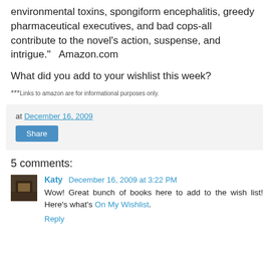environmental toxins, spongiform encephalitis, greedy pharmaceutical executives, and bad cops-all contribute to the novel's action, suspense, and intrigue."   Amazon.com
What did you add to your wishlist this week?
***Links to amazon are for informational purposes only.
at December 16, 2009
Share
5 comments:
Katy December 16, 2009 at 3:22 PM
Wow! Great bunch of books here to add to the wish list! Here's what's On My Wishlist.
Reply